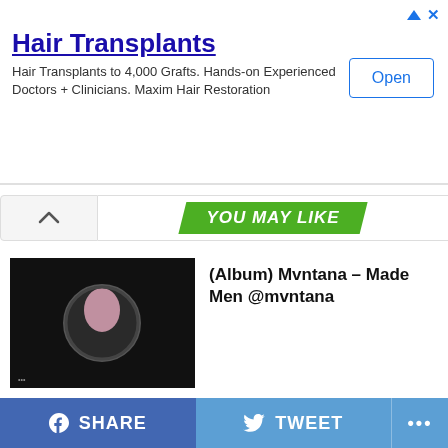[Figure (screenshot): Ad banner for Hair Transplants - Maxim Hair Restoration]
Hair Transplants
Hair Transplants to 4,000 Grafts. Hands-on Experienced Doctors + Clinicians. Maxim Hair Restoration
YOU MAY LIKE
(Album) Mvntana – Made Men @mvntana
(Video) Lon Don – Semme Da Addy
Meet South Florida's Own Hidden Gem S.Yvonne
SHARE   TWEET   ...